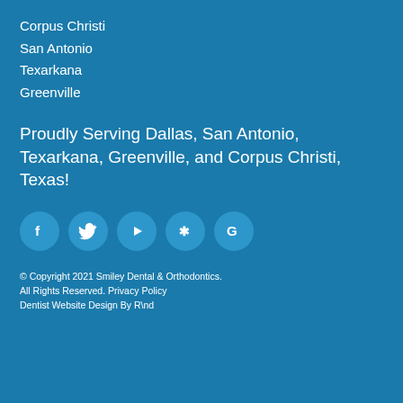Corpus Christi
San Antonio
Texarkana
Greenville
Proudly Serving Dallas, San Antonio, Texarkana, Greenville, and Corpus Christi, Texas!
[Figure (infographic): Row of 5 social media icon circles: Facebook (f), Twitter (bird), YouTube (play button), Yelp (star/burst), Google (G)]
© Copyright 2021 Smiley Dental & Orthodontics. All Rights Reserved. Privacy Policy Dentist Website Design By R\nd